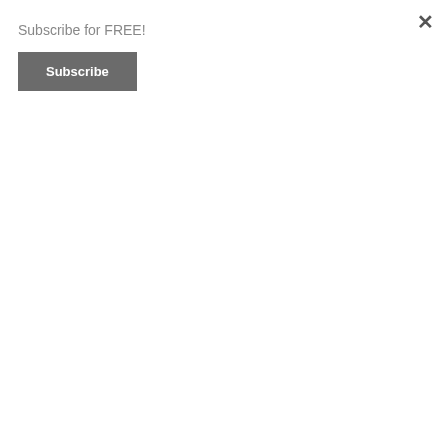×
Subscribe for FREE!
Subscribe
[Figure (photo): Yellow background with a person holding a sign reading 'PH' in a black-bordered yellow box]
Study: PrEP Availability Does Not Lead To Higher STI Rates
DOUGLAS MAGALETTI, JULY 23, 2022
[Figure (photo): Crowd of people at a nightclub/party under blue and white lighting, densely packed dance floor]